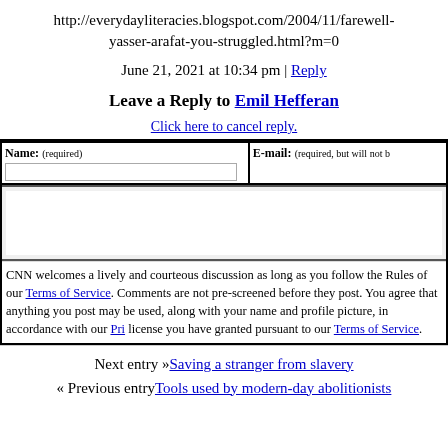http://everydayliteracies.blogspot.com/2004/11/farewell-yasser-arafat-you-struggled.html?m=0
June 21, 2021 at 10:34 pm | Reply
Leave a Reply to Emil Hefferan
Click here to cancel reply.
| Name: (required) | E-mail: (required, but will not be published) |
| --- | --- |
|  |
CNN welcomes a lively and courteous discussion as long as you follow the Rules of our Terms of Service. Comments are not pre-screened before they post. You agree that anything you post may be used, along with your name and profile picture, in accordance with our Privacy Policy and the license you have granted pursuant to our Terms of Service.
Next entry »Saving a stranger from slavery
« Previous entryTools used by modern-day abolitionists